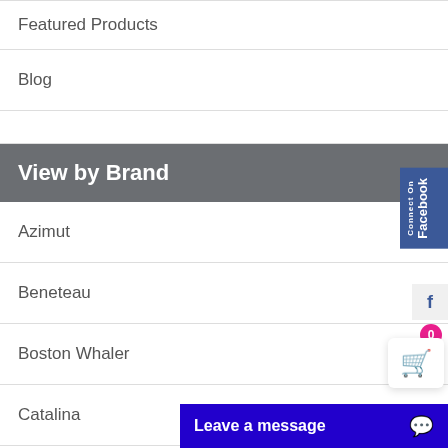Featured Products
Blog
View by Brand
Azimut
Beneteau
Boston Whaler
Catalina
Carver